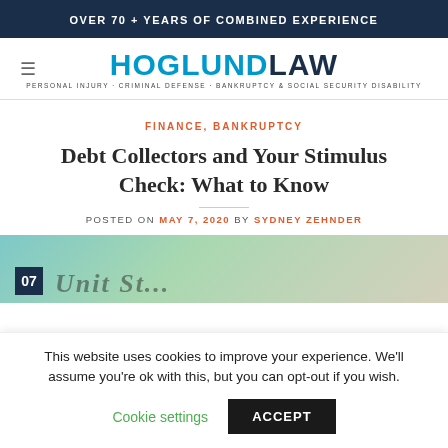OVER 70 + YEARS OF COMBINED EXPERIENCE
[Figure (logo): Hoglund Law logo with tagline: PERSONAL INJURY · CRIMINAL DEFENSE · BANKRUPTCY & SOCIAL SECURITY DISABILITY]
FINANCE, BANKRUPTCY
Debt Collectors and Your Stimulus Check: What to Know
POSTED ON MAY 7, 2020 BY SYDNEY ZEHNDER
[Figure (photo): Partially visible image of what appears to be United States currency/stimulus check with teal and green tones]
This website uses cookies to improve your experience. We'll assume you're ok with this, but you can opt-out if you wish.
Cookie settings   ACCEPT